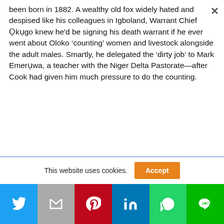been born in 1882. A wealthy old fox widely hated and despised like his colleagues in Igboland, Warrant Chief Ọkụgo knew he'd be signing his death warrant if he ever went about Oloko 'counting' women and livestock alongside the adult males. Smartly, he delegated the 'dirty job' to Mark Emerụwa, a teacher with the Niger Delta Pastorate—after Cook had given him much pressure to do the counting.
This website uses cookies.